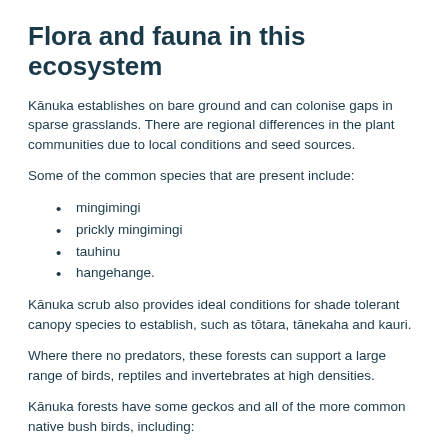Flora and fauna in this ecosystem
Kānuka establishes on bare ground and can colonise gaps in sparse grasslands. There are regional differences in the plant communities due to local conditions and seed sources.
Some of the common species that are present include:
mingimingi
prickly mingimingi
tauhinu
hangehange.
Kānuka scrub also provides ideal conditions for shade tolerant canopy species to establish, such as tōtara, tānekaha and kauri.
Where there no predators, these forests can support a large range of birds, reptiles and invertebrates at high densities.
Kānuka forests have some geckos and all of the more common native bush birds, including:
kererū